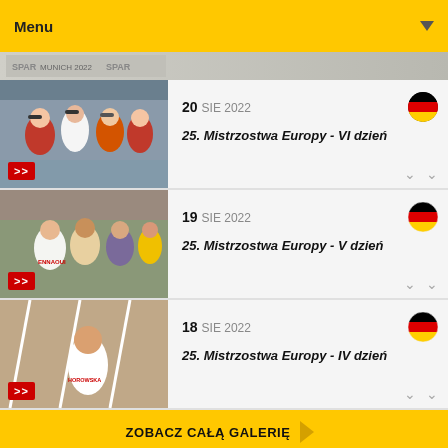Menu
20 SIE 2022 — 25. Mistrzostwa Europy - VI dzień
19 SIE 2022 — 25. Mistrzostwa Europy - V dzień
18 SIE 2022 — 25. Mistrzostwa Europy - IV dzień
ZOBACZ CAŁĄ GALERIĘ